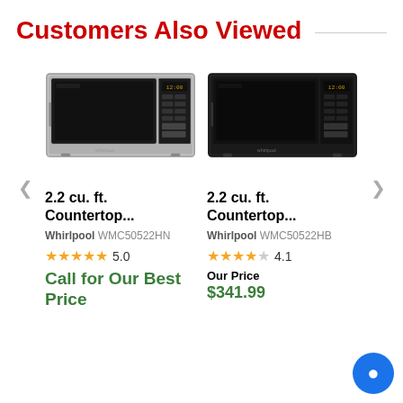Customers Also Viewed
[Figure (photo): Stainless steel Whirlpool countertop microwave WMC50522HN]
2.2 cu. ft. Countertop...
Whirlpool WMC50522HN
★★★★★ 5.0
Call for Our Best Price
[Figure (photo): Black Whirlpool countertop microwave WMC50522HB]
2.2 cu. ft. Countertop...
Whirlpool WMC50522HB
★★★★☆ 4.1
Our Price
$341.99